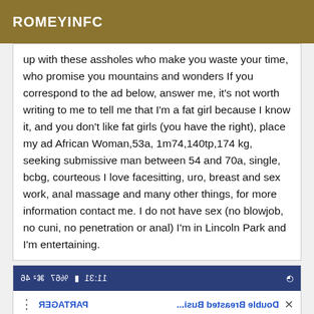ROMEYINFC
up with these assholes who make you waste your time, who promise you mountains and wonders If you correspond to the ad below, answer me, it's not worth writing to me to tell me that I'm a fat girl because I know it, and you don't like fat girls (you have the right), place my ad African Woman,53a, 1m74,140tp,174 kg, seeking submissive man between 54 and 70a, single, bcbg, courteous I love facesitting, uro, breast and sex work, anal massage and many other things, for more information contact me. I do not have sex (no blowjob, no cuni, no penetration or anal) I'm in Lincoln Park and I'm entertaining.
[Figure (screenshot): Mirrored/flipped screenshot of a mobile browser with a notification for 'Double Breasted Busi...' from www.shopbealman.com and a 'FREE SHIPPING ON ALL ORDERS' bar, shown mirrored horizontally.]